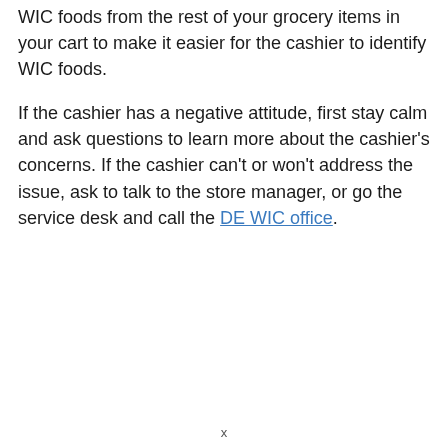WIC foods from the rest of your grocery items in your cart to make it easier for the cashier to identify WIC foods.
If the cashier has a negative attitude, first stay calm and ask questions to learn more about the cashier's concerns. If the cashier can't or won't address the issue, ask to talk to the store manager, or go the service desk and call the DE WIC office.